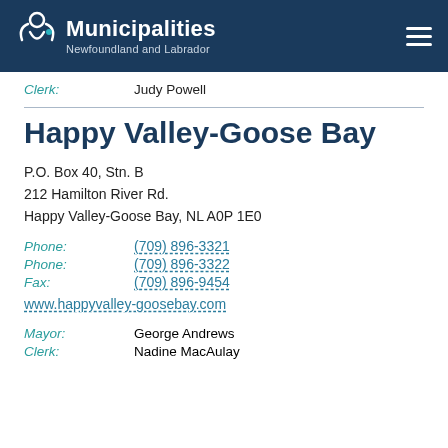Municipalities Newfoundland and Labrador
Clerk: Judy Powell
Happy Valley-Goose Bay
P.O. Box 40, Stn. B
212 Hamilton River Rd.
Happy Valley-Goose Bay, NL A0P 1E0
Phone: (709) 896-3321
Phone: (709) 896-3322
Fax: (709) 896-9454
www.happyvalley-goosebay.com
Mayor: George Andrews
Clerk: Nadine MacAulay